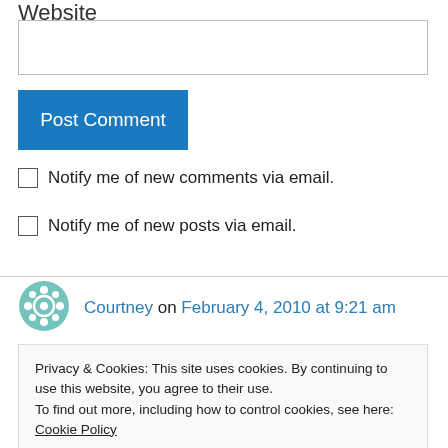Website
[Figure (screenshot): Empty text input field for website URL]
Post Comment
Notify me of new comments via email.
Notify me of new posts via email.
[Figure (illustration): Avatar icon with teal geometric pattern]
Courtney on February 4, 2010 at 9:21 am
Privacy & Cookies: This site uses cookies. By continuing to use this website, you agree to their use.
To find out more, including how to control cookies, see here: Cookie Policy
Close and accept